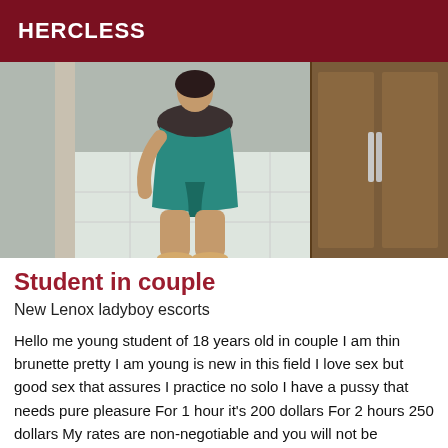HERCLESS
[Figure (photo): A woman in a teal/green bodycon dress standing near a wooden wardrobe, viewed from behind at an angle, in a tiled room.]
Student in couple
New Lenox ladyboy escorts
Hello me young student of 18 years old in couple I am thin brunette pretty I am young is new in this field I love sex but good sex that assures I practice no solo I have a pussy that needs pure pleasure For 1 hour it's 200 dollars For 2 hours 250 dollars My rates are non-negotiable and you will not be disappointed with me. I